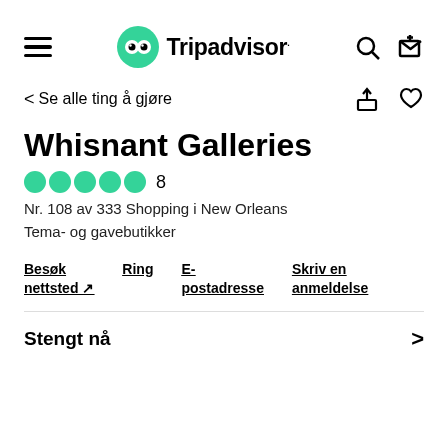Tripadvisor
< Se alle ting å gjøre
Whisnant Galleries
8
Nr. 108 av 333 Shopping i New Orleans
Tema- og gavebutikker
Besøk nettsted ↗
Ring
E-postadresse
Skriv en anmeldelse
Stengt nå